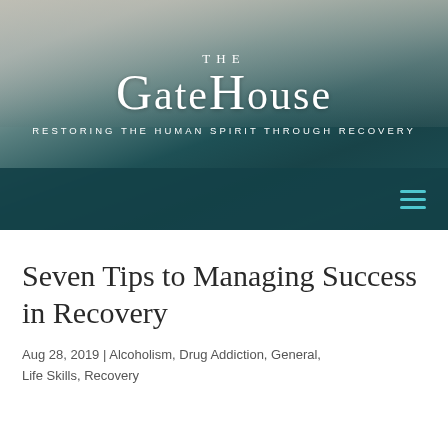[Figure (logo): The GateHouse logo with tagline 'Restoring the Human Spirit Through Recovery' on a cloudy sky and dark teal background]
Seven Tips to Managing Success in Recovery
Aug 28, 2019 | Alcoholism, Drug Addiction, General, Life Skills, Recovery